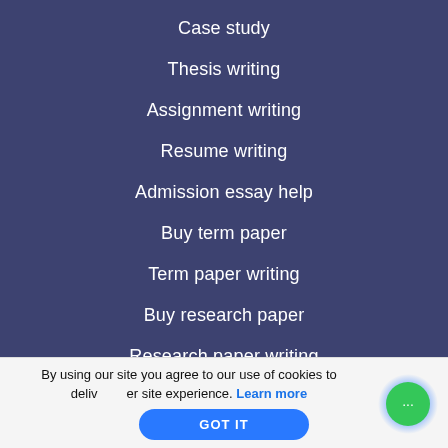Case study
Thesis writing
Assignment writing
Resume writing
Admission essay help
Buy term paper
Term paper writing
Buy research paper
Research paper writing
By using our site you agree to our use of cookies to deliver a better site experience. Learn more
GOT IT